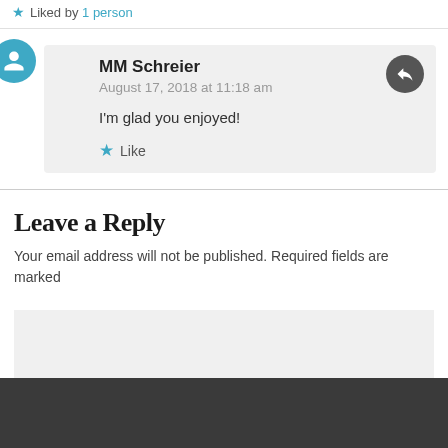★ Liked by 1 person
MM Schreier
August 17, 2018 at 11:18 am
I'm glad you enjoyed!
★ Like
Leave a Reply
Your email address will not be published. Required fields are marked